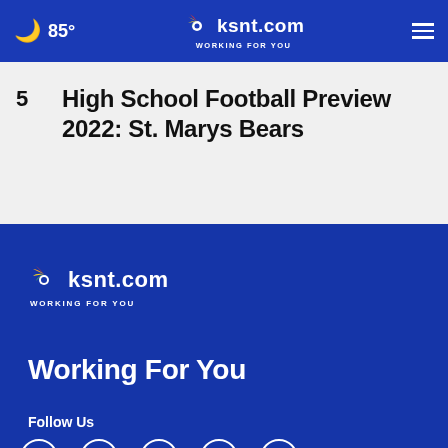85° ksnt.com WORKING FOR YOU
5  High School Football Preview 2022: St. Marys Bears
[Figure (logo): ksnt.com NBC affiliate logo with peacock icon and tagline WORKING FOR YOU]
Working For You
Follow Us
[Figure (infographic): Social media icons: Facebook, Twitter, Instagram, YouTube, Email]